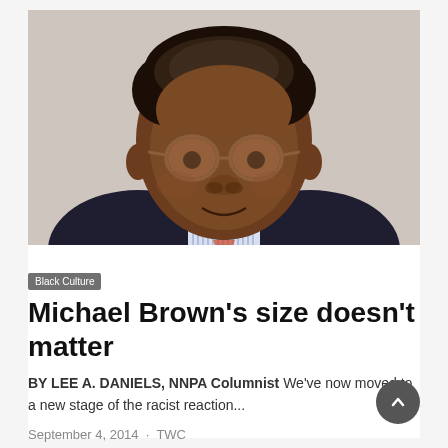[Figure (photo): Headshot photograph of a Black man wearing round tortoiseshell glasses and a dark suit jacket with a striped shirt, smiling slightly against a light background.]
Black Culture
Michael Brown's size doesn't matter
BY LEE A. DANIELS, NNPA Columnist We've now moved to a new stage of the racist reaction...
September 4, 2014 · TWC